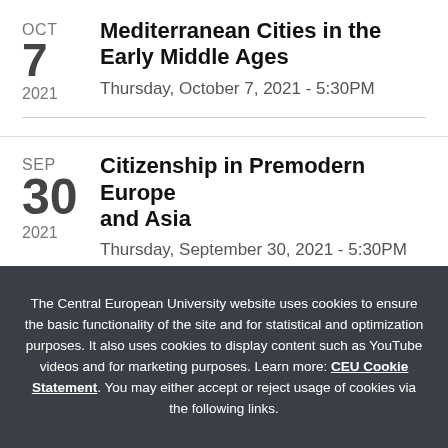OCT 7 2021 — Mediterranean Cities in the Early Middle Ages — Thursday, October 7, 2021 - 5:30PM
SEP 30 2021 — Citizenship in Premodern Europe and Asia — Thursday, September 30, 2021 - 5:30PM
The Central European University website uses cookies to ensure the basic functionality of the site and for statistical and optimization purposes. It also uses cookies to display content such as YouTube videos and for marketing purposes. Learn more: CEU Cookie Statement. You may either accept or reject usage of cookies via the following links.